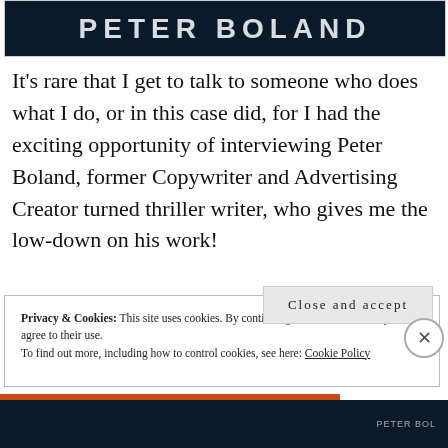[Figure (photo): Dark book cover image showing 'PETER BOLAND' in bold white letters on a dark background]
It's rare that I get to talk to someone who does what I do, or in this case did, for I had the exciting opportunity of interviewing Peter Boland, former Copywriter and Advertising Creator turned thriller writer, who gives me the low-down on his work!
Privacy & Cookies: This site uses cookies. By continuing to use this website, you agree to their use.
To find out more, including how to control cookies, see here: Cookie Policy
Close and accept